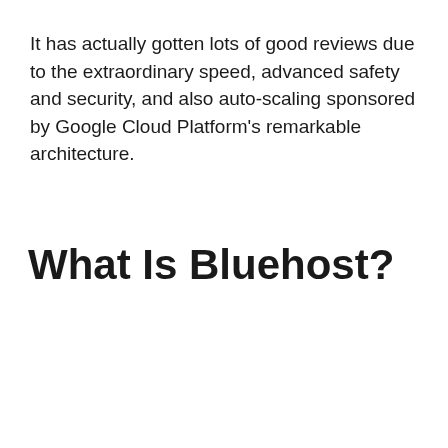It has actually gotten lots of good reviews due to the extraordinary speed, advanced safety and security, and also auto-scaling sponsored by Google Cloud Platform's remarkable architecture.
What Is Bluehost?